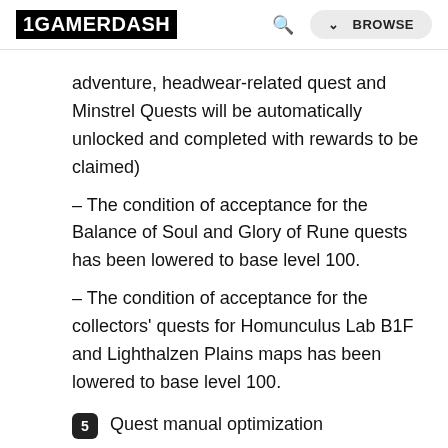1GAMERDASH — Search — BROWSE
adventure, headwear-related quest and Minstrel Quests will be automatically unlocked and completed with rewards to be claimed)
– The condition of acceptance for the Balance of Soul and Glory of Rune quests has been lowered to base level 100.
– The condition of acceptance for the collectors' quests for Homunculus Lab B1F and Lighthalzen Plains maps has been lowered to base level 100.
5  Quest manual optimization
– Title changes: the Main Story will be changed to Adventure Chapter, the Tutorials will be